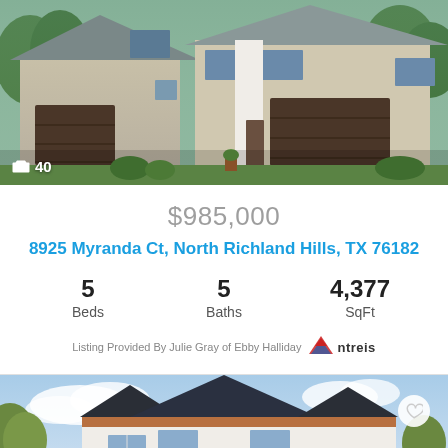[Figure (photo): Exterior photo of a two-story stone and stucco home with brown garage doors, green landscaping, concrete driveway. Badge showing camera icon and '40' in bottom left.]
$985,000
8925 Myranda Ct, North Richland Hills, TX 76182
5 Beds   5 Baths   4,377 SqFt
Listing Provided By Julie Gray of Ebby Halliday ntreis
[Figure (photo): Exterior photo of a white farmhouse-style home with dark roof, copper accents, trees in background, blue sky with clouds. Heart/favorite icon in top right corner.]